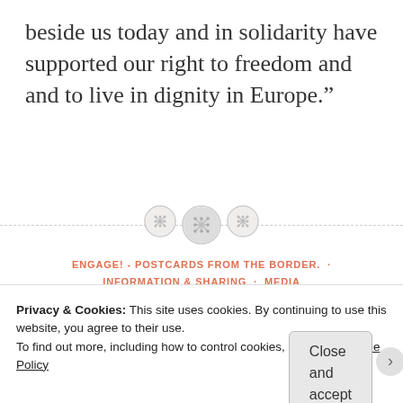beside us today and in solidarity have supported our right to freedom and and to live in dignity in Europe.”
[Figure (illustration): Horizontal dashed divider line with three circular button/grid icons centered on it]
ENGAGE! - POSTCARDS FROM THE BORDER. · INFORMATION & SHARING · MEDIA
Privacy & Cookies: This site uses cookies. By continuing to use this website, you agree to their use.
To find out more, including how to control cookies, see here: Cookie Policy
Close and accept